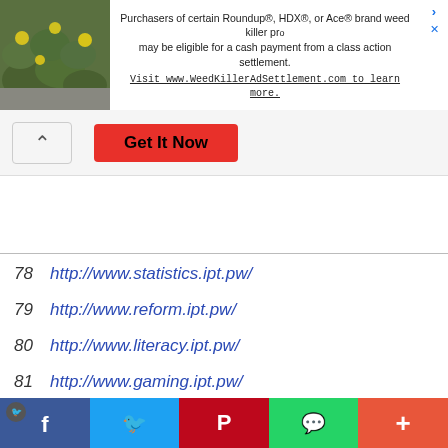[Figure (screenshot): Advertisement banner for Roundup/HDX/Ace weed killer class action settlement with plant background image]
Purchasers of certain Roundup®, HDX®, or Ace® brand weed killer products may be eligible for a cash payment from a class action settlement. Visit www.WeedKillerAdSettlement.com to learn more.
[Figure (screenshot): Get It Now red button and collapse arrow button]
78   http://www.statistics.ipt.pw/
79   http://www.reform.ipt.pw/
80   http://www.literacy.ipt.pw/
81   http://www.gaming.ipt.pw/
82   http://www.cleartrip.ipt.pw/
83   http://www.electricity.ipt.pw/
[Figure (screenshot): Social sharing bar with Facebook, Twitter, Pinterest, WhatsApp, and More buttons]